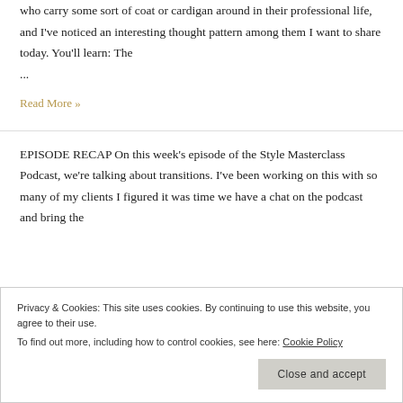who carry some sort of coat or cardigan around in their professional life, and I've noticed an interesting thought pattern among them I want to share today. You'll learn: The ...
Read More »
EPISODE RECAP On this week's episode of the Style Masterclass Podcast, we're talking about transitions. I've been working on this with so many of my clients I figured it was time we have a chat on the podcast and bring the
Privacy & Cookies: This site uses cookies. By continuing to use this website, you agree to their use. To find out more, including how to control cookies, see here: Cookie Policy
Close and accept